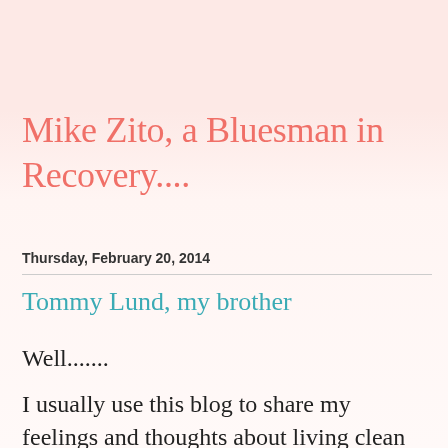Mike Zito, a Bluesman in Recovery....
Thursday, February 20, 2014
Tommy Lund, my brother
Well.......
I usually use this blog to share my feelings and thoughts about living clean and sober